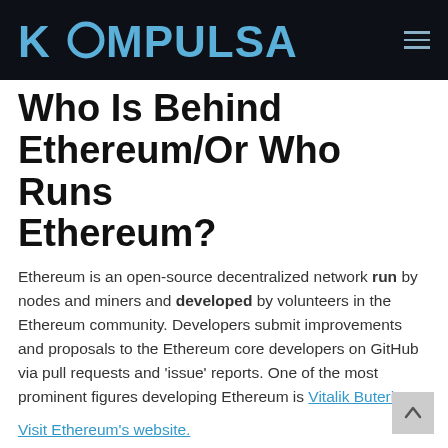KOMPULSA
Who Is Behind Ethereum/Or Who Runs Ethereum?
Ethereum is an open-source decentralized network run by nodes and miners and developed by volunteers in the Ethereum community. Developers submit improvements and proposals to the Ethereum core developers on GitHub via pull requests and 'issue' reports. One of the most prominent figures developing Ethereum is Vitalik Buterin.
Visit Ethereum's website.
You can see all of this, as well as the source code of Ethereum itself here on GitHub.